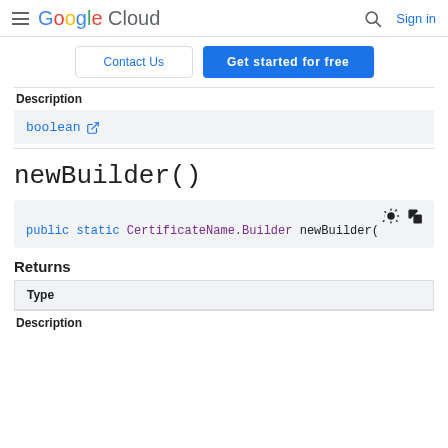Google Cloud | Contact Us | Get started for free | Sign in
boolean (external link)
newBuilder()
public static CertificateName.Builder newBuilder(
Returns
Type
Description